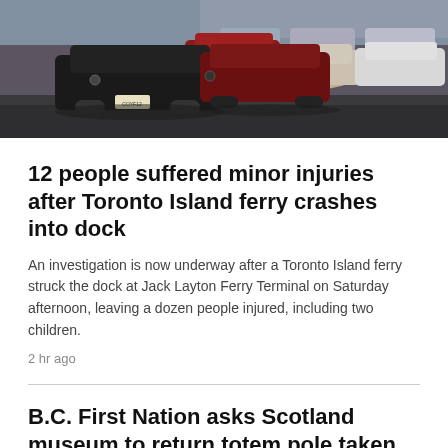[Figure (photo): A car lot with multiple vehicles parked closely together, including a black Toyota and red Mazda in the foreground, with other cars in the background.]
12 people suffered minor injuries after Toronto Island ferry crashes into dock
An investigation is now underway after a Toronto Island ferry struck the dock at Jack Layton Ferry Terminal on Saturday afternoon, leaving a dozen people injured, including two children.
2 hr ago
B.C. First Nation asks Scotland museum to return totem pole taken in 1929
8 hr ago
Wolf escape reignites Vancouver Humane